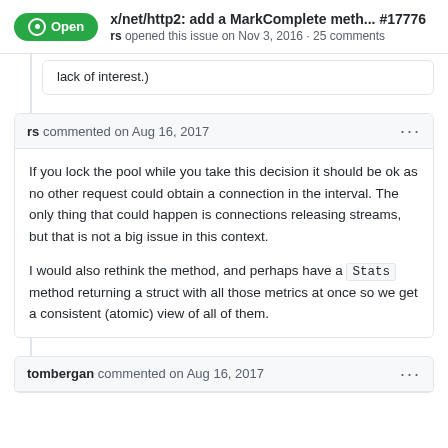x/net/http2: add a MarkComplete meth... #17776 rs opened this issue on Nov 3, 2016 · 25 comments
lack of interest.)
rs commented on Aug 16, 2017
If you lock the pool while you take this decision it should be ok as no other request could obtain a connection in the interval. The only thing that could happen is connections releasing streams, but that is not a big issue in this context.

I would also rethink the method, and perhaps have a Stats method returning a struct with all those metrics at once so we get a consistent (atomic) view of all of them.
tombergan commented on Aug 16, 2017